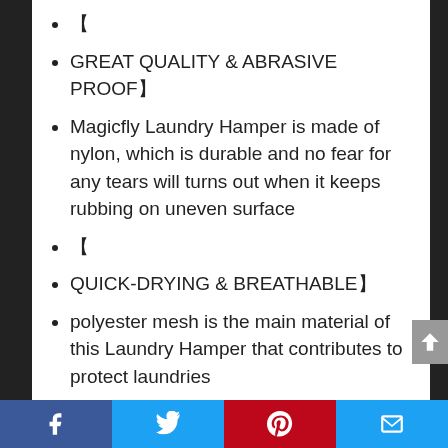&#x3010;
GREAT QUALITY & ABRASIVE PROOF&#x3011;
Magicfly Laundry Hamper is made of nylon, which is durable and no fear for any tears will turns out when it keeps rubbing on uneven surface
&#x3010;
QUICK-DRYING & BREATHABLE&#x3011;
polyester mesh is the main material of this Laundry Hamper that contributes to protect laundries